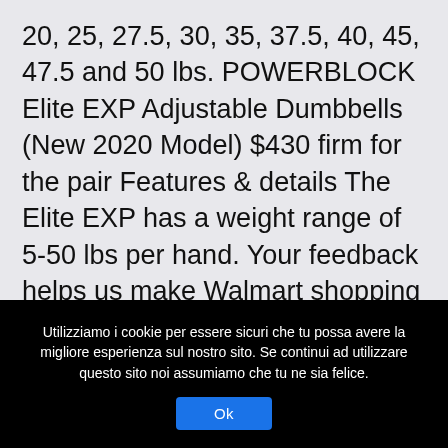20, 25, 27.5, 30, 35, 37.5, 40, 45, 47.5 and 50 lbs. POWERBLOCK Elite EXP Adjustable Dumbbells (New 2020 Model) $430 firm for the pair Features & details The Elite EXP has a weight range of 5-50 lbs per hand. Your feedback helps us make Walmart shopping better for millions of customers. POWERBLOCK Elite EXP Adjustable Dumbbell (2020 Model) 347.41 - $347.41 $347.41 + 9 Deal Score. each, add a Stage 2 kit (50-70lbs. Stage 1 dumbbells start at 50 lbs. This dumbbell set is going to revolutionize my workouts!! Good news â You can still get free
Utilizziamo i cookie per essere sicuri che tu possa avere la migliore esperienza sul nostro sito. Se continui ad utilizzare questo sito noi assumiamo che tu ne sia felice.